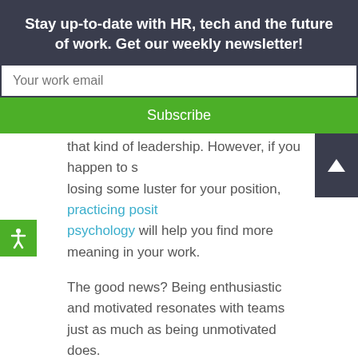Stay up-to-date with HR, tech and the future of work. Get our weekly newsletter!
Your work email
Subscribe
that kind of leadership. However, if you happen to s losing some luster for your position, practicing positive psychology will help you find more meaning in your work.
The good news? Being enthusiastic and motivated resonates with teams just as much as being unmotivated does.
Both your personal and work life can benefit from practicing positive psychology. Plus, when one area of your life improves, the other tends to as well.
It's very natural for our lives to become mundane over